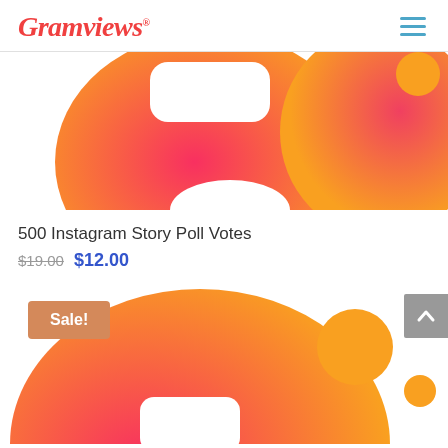Gramviews
[Figure (illustration): Partial view of a pink-to-orange gradient blob/shield shape with a white rounded rectangle cutout, on white background — top portion of a product image for Instagram Story Poll Votes]
500 Instagram Story Poll Votes
$19.00 $12.00
[Figure (illustration): Pink-to-orange gradient blob shape with a white rounded rectangle cutout, orange circle and smaller dot accents, partially showing a second product listing image. Sale! badge overlaid in top-left.]